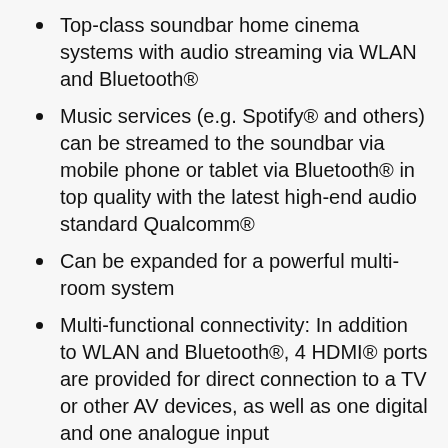Top-class soundbar home cinema systems with audio streaming via WLAN and Bluetooth®
Music services (e.g. Spotify® and others) can be streamed to the soundbar via mobile phone or tablet via Bluetooth® in top quality with the latest high-end audio standard Qualcomm®
Can be expanded for a powerful multi-room system
Multi-functional connectivity: In addition to WLAN and Bluetooth®, 4 HDMI® ports are provided for direct connection to a TV or other AV devices, as well as one digital and one analogue input
Fully-fledged, dynamic home cinema sound from a slim soundbar and a wireless high-performance subwoofer
WLAN network connection, control via